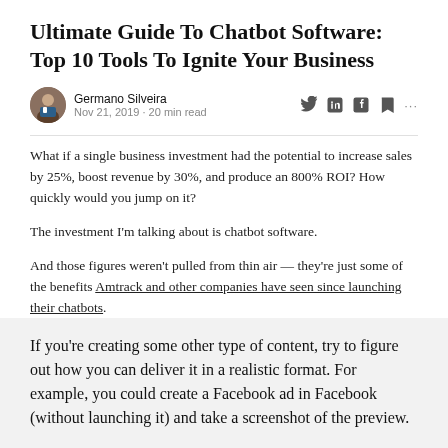Ultimate Guide To Chatbot Software: Top 10 Tools To Ignite Your Business
Germano Silveira
Nov 21, 2019 · 20 min read
What if a single business investment had the potential to increase sales by 25%, boost revenue by 30%, and produce an 800% ROI? How quickly would you jump on it?
The investment I'm talking about is chatbot software.
And those figures weren't pulled from thin air — they're just some of the benefits Amtrack and other companies have seen since launching their chatbots.
Chatbots can automate customer service, improve customer experience, boost lead generation, increase conversion rates, and more.
If you're creating some other type of content, try to figure out how you can deliver it in a realistic format. For example, you could create a Facebook ad in Facebook (without launching it) and take a screenshot of the preview.